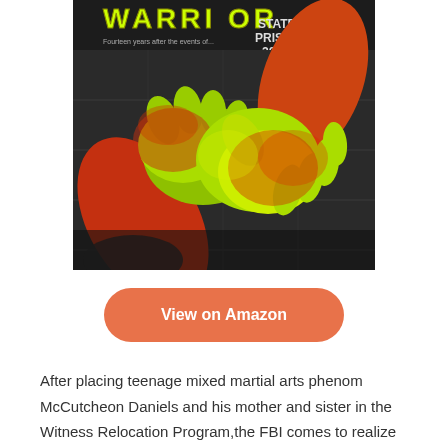[Figure (illustration): Book cover image showing two hands in yellow-green and red/orange martial arts gloves gripping each other, with text 'WARRIOR' at top and 'STATE PRISON 20-60' visible in background]
View on Amazon
After placing teenage mixed martial arts phenom McCutcheon Daniels and his mother and sister in the Witness Relocation Program,the FBI comes to realize